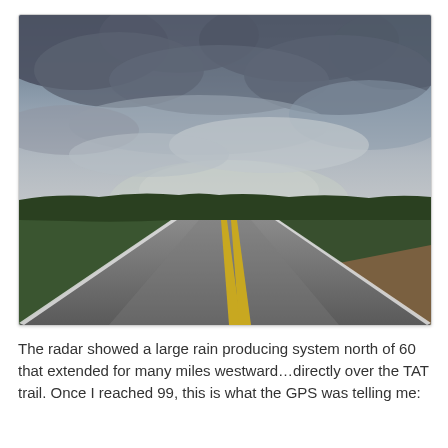[Figure (photo): A straight two-lane highway stretching to the horizon through flat green grassland/prairie under a dramatic stormy sky with dark clouds. The road has yellow center lines and white edge lines. The landscape is flat with low green hills or treelines on both sides.]
The radar showed a large rain producing system north of 60 that extended for many miles westward…directly over the TAT trail. Once I reached 99, this is what the GPS was telling me: